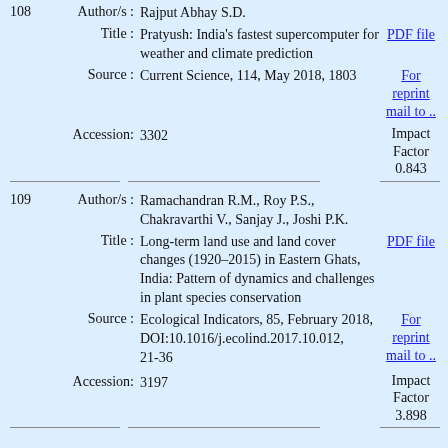108 Author/s : Rajput Abhay S.D.
Title : Pratyush: India's fastest supercomputer for weather and climate prediction
Source : Current Science, 114, May 2018, 1803
Accession: 3302
Impact Factor 0.843
109 Author/s : Ramachandran R.M., Roy P.S., Chakravarthi V., Sanjay J., Joshi P.K.
Title : Long-term land use and land cover changes (1920–2015) in Eastern Ghats, India: Pattern of dynamics and challenges in plant species conservation
Source : Ecological Indicators, 85, February 2018, DOI:10.1016/j.ecolind.2017.10.012, 21-36
Accession: 3197
Impact Factor 3.898